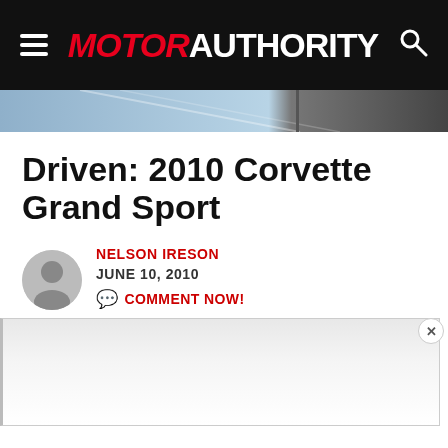MOTOR AUTHORITY
[Figure (photo): Partial hero image of a car, blue/gray tones, cropped banner strip]
Driven: 2010 Corvette Grand Sport
NELSON IRESON
JUNE 10, 2010
COMMENT NOW!
[Figure (other): Advertisement/content box with close button (x)]